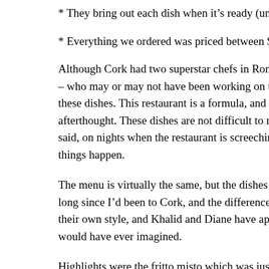* They bring out each dish when it’s ready (unless you request o
* Everything we ordered was priced between $10 and $12
Although Cork had two superstar chefs in Ron Tanaka and Rob – who may or may not have been working on this Sunday eveni these dishes. This restaurant is a formula, and the chef can be – afterthought. These dishes are not difficult to make, and a good said, on nights when the restaurant is screechingly busy, you ne things happen.
The menu is virtually the same, but the dishes themselves are qu long since I’d been to Cork, and the difference in the execution their own style, and Khalid and Diane have apparently givenÂ t would have ever imagined.
Highlights were the fritto misto which was just as good as any r sandwich which was perhaps better than any rendition I’ve had a bit overpowering (if you don’t mind this, you’ll love the sand